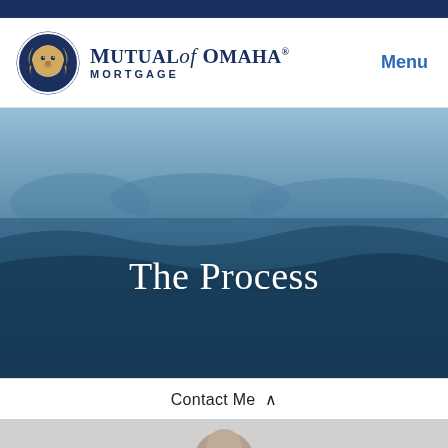[Figure (logo): Mutual of Omaha Mortgage logo with lion head in blue circle and brand name]
Menu
[Figure (photo): Hero background photo of landscape/hills with blue overlay tint]
The Process
Contact Me ^